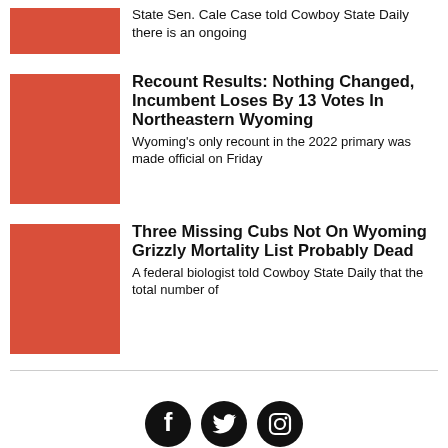[Figure (photo): Red thumbnail image placeholder]
State Sen. Cale Case told Cowboy State Daily there is an ongoing
[Figure (photo): Red thumbnail image placeholder]
Recount Results: Nothing Changed, Incumbent Loses By 13 Votes In Northeastern Wyoming
Wyoming's only recount in the 2022 primary was made official on Friday
[Figure (photo): Red thumbnail image placeholder]
Three Missing Cubs Not On Wyoming Grizzly Mortality List Probably Dead
A federal biologist told Cowboy State Daily that the total number of
[Figure (illustration): Social media icons: Facebook, Twitter, Instagram]